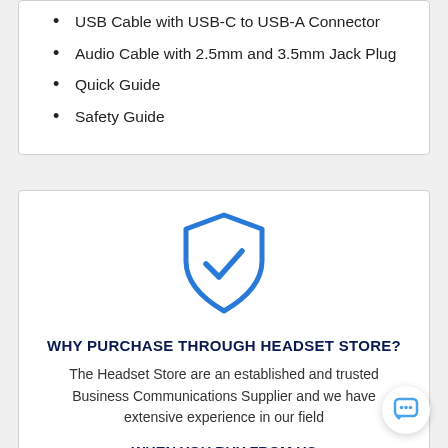USB Cable with USB-C to USB-A Connector
Audio Cable with 2.5mm and 3.5mm Jack Plug
Quick Guide
Safety Guide
[Figure (illustration): Blue shield icon with a checkmark inside]
WHY PURCHASE THROUGH HEADSET STORE?
The Headset Store are an established and trusted Business Communications Supplier and we have extensive experience in our field
WHEN YOU BUY FROM US
WE GUARANTEE THE FOLLOWING: